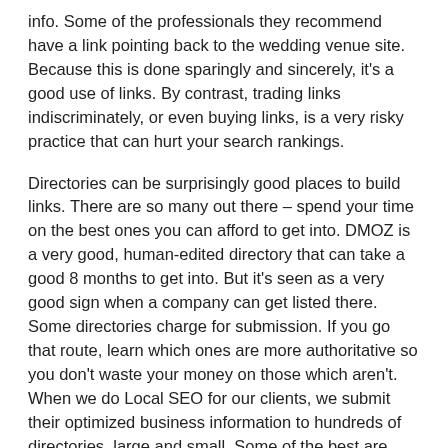info. Some of the professionals they recommend have a link pointing back to the wedding venue site. Because this is done sparingly and sincerely, it's a good use of links. By contrast, trading links indiscriminately, or even buying links, is a very risky practice that can hurt your search rankings.
Directories can be surprisingly good places to build links. There are so many out there – spend your time on the best ones you can afford to get into. DMOZ is a very good, human-edited directory that can take a good 8 months to get into. But it's seen as a very good sign when a company can get listed there. Some directories charge for submission. If you go that route, learn which ones are more authoritative so you don't waste your money on those which aren't.  When we do Local SEO for our clients, we submit their optimized business information to hundreds of directories, large and small. Some of the best are Google+ Local, Yahoo Local, Bing Maps, Localeze, and Yelp.